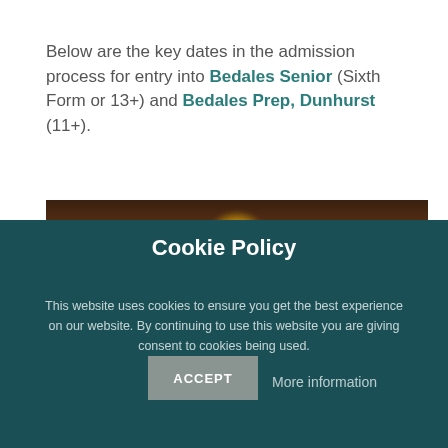Below are the key dates in the admission process for entry into Bedales Senior (Sixth Form or 13+) and Bedales Prep, Dunhurst (11+).
[Figure (photo): Interior photo of a library or hall with hanging pendant lamps glowing warmly, dark wooden shelves and beams visible in background]
Cookie Policy
This website uses cookies to ensure you get the best experience on our website. By continuing to use this website you are giving consent to cookies being used.
ACCEPT
More information